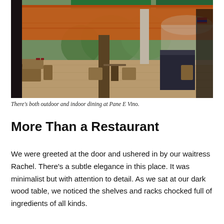[Figure (photo): Outdoor and indoor dining area at Pane E Vino restaurant, showing wicker chairs and tables under an orange awning, with a covered patio and lush greenery in the background.]
There’s both outdoor and indoor dining at Pane E Vino.
More Than a Restaurant
We were greeted at the door and ushered in by our waitress Rachel. There’s a subtle elegance in this place. It was minimalist but with attention to detail. As we sat at our dark wood table, we noticed the shelves and racks chocked full of ingredients of all kinds.